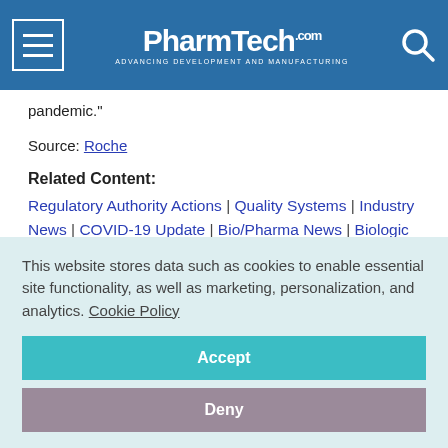PharmTech.com — ADVANCING DEVELOPMENT AND MANUFACTURING
pandemic."
Source: Roche
Related Content:
Regulatory Authority Actions | Quality Systems | Industry News | COVID-19 Update | Bio/Pharma News | Biologic Drugs | Dosage Forms
Building GMPs for Solid Dosage
This website stores data such as cookies to enable essential site functionality, as well as marketing, personalization, and analytics. Cookie Policy
Accept
Deny